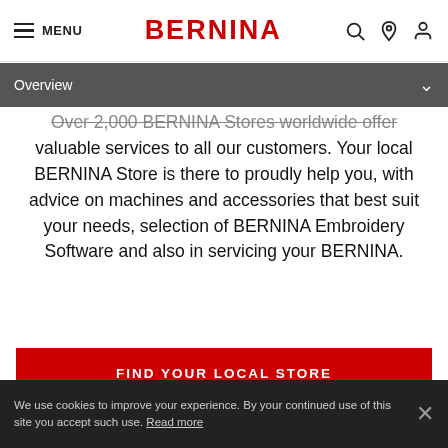MENU | BERNINA
Overview
Over 2,000 BERNINA Stores worldwide offer valuable services to all our customers. Your local BERNINA Store is there to proudly help you, with advice on machines and accessories that best suit your needs, selection of BERNINA Embroidery Software and also in servicing your BERNINA.
FIND YOUR LOCAL STORE
We use cookies to improve your experience. By your continued use of this site you accept such use. Read more